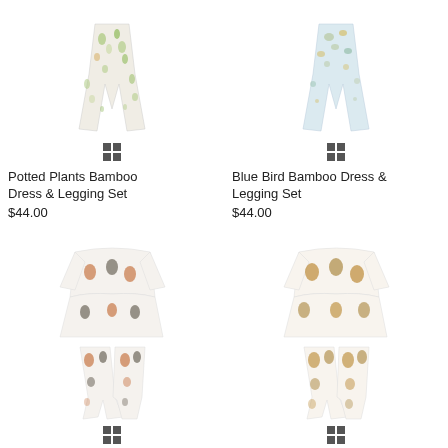[Figure (photo): Potted Plants Bamboo Dress & Legging Set product photo - white pants/leggings with green plant pattern]
Potted Plants Bamboo Dress & Legging Set
$44.00
[Figure (photo): Blue Bird Bamboo Dress & Legging Set product photo - light blue leggings with bird pattern]
Blue Bird Bamboo Dress & Legging Set
$44.00
[Figure (photo): Rooster/chicken print Bamboo Dress & Legging Set - white dress and leggings with rooster pattern]
[Figure (photo): Bunny/rabbit print Bamboo Dress & Legging Set - white dress and leggings with rabbit pattern]